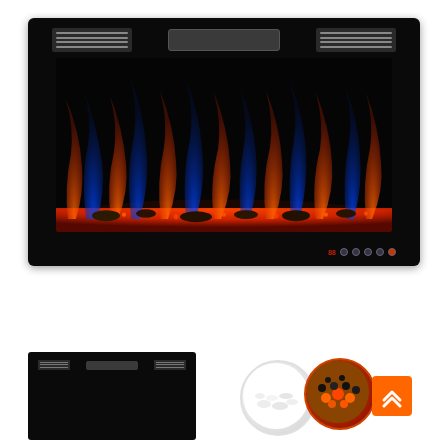[Figure (photo): Electric wall-mount fireplace with black frame, top vents, digital display panel, colorful blue and orange flame effect, decorative ember bed, and touch control dots at bottom right]
[Figure (photo): Close-up of the top panel of the electric fireplace showing two ventilation grilles and a digital display in the center]
[Figure (photo): Two circular dishes showing decorative fireplace media: white/clear crystals on the left, orange and black gem stones on the right, with an orange back-to-top navigation button overlay]